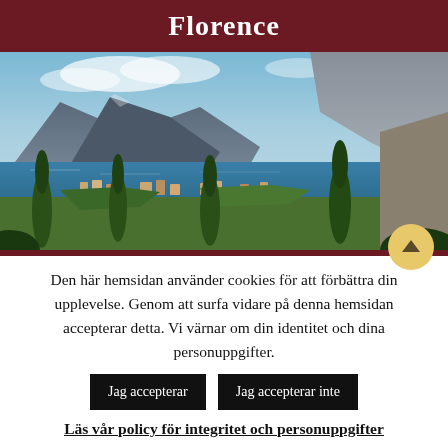Florence
[Figure (photo): Panoramic view of Lake Garda with mountains in the background, cypress trees in the foreground, and a town along the shoreline.]
Den här hemsidan använder cookies för att förbättra din upplevelse. Genom att surfa vidare på denna hemsidan accepterar detta. Vi värnar om din identitet och dina personuppgifter.
Jag accepterar   Jag accepterar inte
Läs vår policy för integritet och personuppgifter